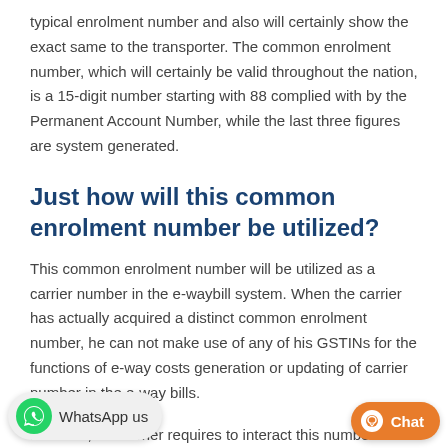typical enrolment number and also will certainly show the exact same to the transporter. The common enrolment number, which will certainly be valid throughout the nation, is a 15-digit number starting with 88 complied with by the Permanent Account Number, while the last three figures are system generated.
Just how will this common enrolment number be utilized?
This common enrolment number will be utilized as a carrier number in the e-waybill system. When the carrier has actually acquired a distinct common enrolment number, he can not make use of any of his GSTINs for the functions of e-way costs generation or updating of carrier number in the e-way bills.
Likewise, the carrier requires to interact this number to dating as transporter number while producing e-way expenses. The e-way expense system